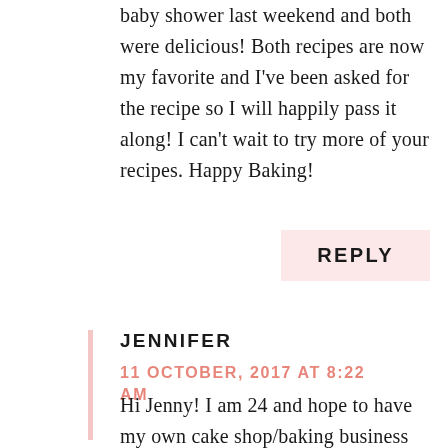baby shower last weekend and both were delicious! Both recipes are now my favorite and I've been asked for the recipe so I will happily pass it along! I can't wait to try more of your recipes. Happy Baking!
REPLY
JENNIFER
11 OCTOBER, 2017 AT 8:22 AM
Hi Jenny! I am 24 and hope to have my own cake shop/baking business someday. I am inspired by your